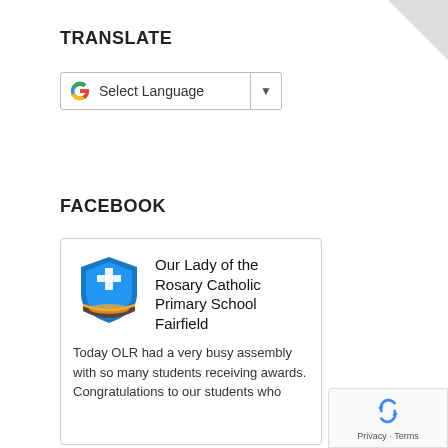TRANSLATE
[Figure (screenshot): Google Translate widget showing a dropdown with 'Select Language' text and a dropdown arrow, with Google 'G' logo on the left.]
FACEBOOK
[Figure (screenshot): Facebook card widget showing Our Lady of the Rosary Catholic Primary School Fairfield logo and name, with a post text beginning: 'Today OLR had a very busy assembly with so many students receiving awards. Congratulations to our students who...']
[Figure (logo): reCAPTCHA badge with Privacy and Terms links at bottom right corner of the page.]